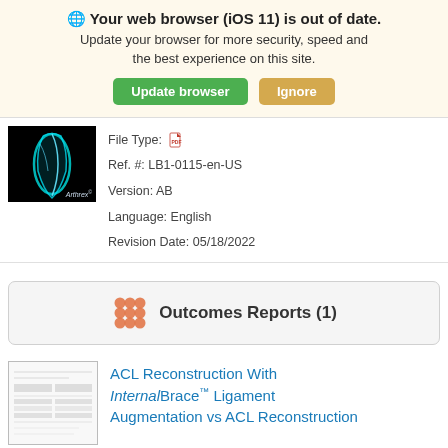🌐 Your web browser (iOS 11) is out of date. Update your browser for more security, speed and the best experience on this site. [Update browser] [Ignore]
[Figure (photo): Thumbnail image of knee/ACL anatomy on dark background with Arthrex logo]
File Type: [PDF icon]
Ref. #: LB1-0115-en-US
Version: AB
Language: English
Revision Date: 05/18/2022
Outcomes Reports (1)
[Figure (photo): Thumbnail image of ACL reconstruction outcomes report document]
ACL Reconstruction With InternalBrace™ Ligament Augmentation vs ACL Reconstruction